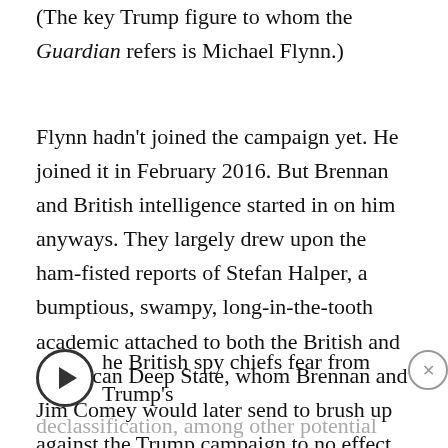(The key Trump figure to whom the Guardian refers is Michael Flynn.)
Flynn hadn't joined the campaign yet. He joined it in February 2016. But Brennan and British intelligence started in on him anyways. They largely drew upon the ham-fisted reports of Stefan Halper, a bumptious, swampy, long-in-the-tooth academic attached to both the British and American Deep State, whom Brennan and Jim Comey would later send to brush up against the Trump campaign to no effect.
he British spy chiefs fear from Trump's declassification, among other potential